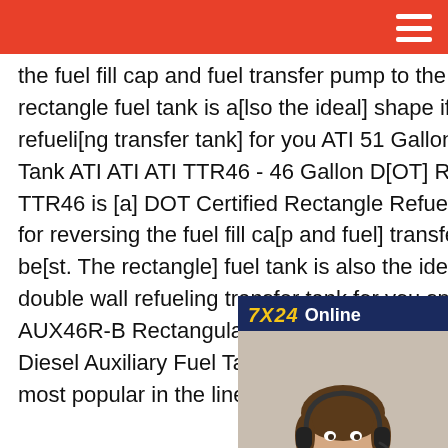the fuel fill cap and fuel transfer pump to the side you prefer best. The rectangle fuel tank is also the ideal shape if you require a double wall refueling transfer tank for you ATI 51 Gallon Rectangle Diesel Auxiliary Tank ATI ATI ATI TTR46 - 46 Gallon DOT Rectangle Refueling TankATI TTR46 is a DOT Certified Rectangle Refueling Tank. The bungs allow for reversing the fuel fill cap and fuel transfer pump to the side you prefer best. The rectangle fuel tank is also the ideal shape if you require a double wall refueling transfer tank for you specific application.ATI ATI ATI AUX46R-B Rectangular Gas/Diesel Auxiliary Tank ATI 51 Gallon Rectangle Diesel Auxiliary Fuel Tank The rectangle aluminum auxiliary tank is the most popular in the lineup.
[Figure (photo): Customer service representative chat widget with headset-wearing woman, 7X24 Online label, Hello may I help you text, and Get Latest Price button]